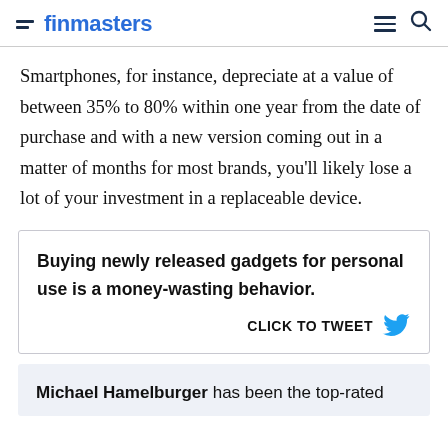finmasters
Smartphones, for instance, depreciate at a value of between 35% to 80% within one year from the date of purchase and with a new version coming out in a matter of months for most brands, you'll likely lose a lot of your investment in a replaceable device.
Buying newly released gadgets for personal use is a money-wasting behavior. CLICK TO TWEET
Michael Hamelburger has been the top-rated